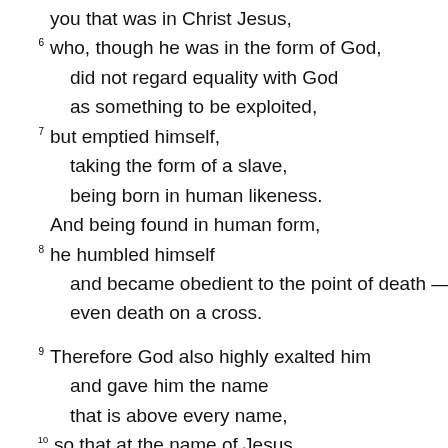you that was in Christ Jesus,
6  who, though he was in the form of God,
        did not regard equality with God
        as something to be exploited,
7  but emptied himself,
        taking the form of a slave,
        being born in human likeness.
    And being found in human form,
8  he humbled himself
        and became obedient to the point of death —
        even death on a cross.
9  Therefore God also highly exalted him
        and gave him the name
        that is above every name,
10  so that at the name of Jesus
        every knee should bend,
        in heaven and on earth and under the earth,
11  and every tongue should confess